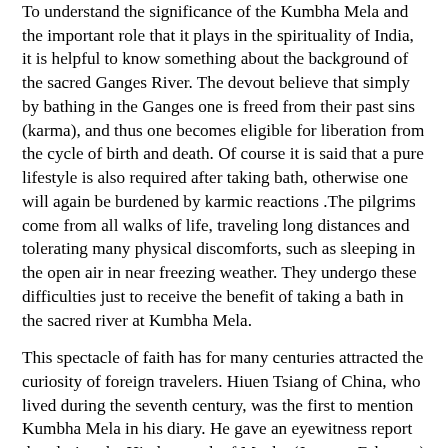To understand the significance of the Kumbha Mela and the important role that it plays in the spirituality of India, it is helpful to know something about the background of the sacred Ganges River. The devout believe that simply by bathing in the Ganges one is freed from their past sins (karma), and thus one becomes eligible for liberation from the cycle of birth and death. Of course it is said that a pure lifestyle is also required after taking bath, otherwise one will again be burdened by karmic reactions .The pilgrims come from all walks of life, traveling long distances and tolerating many physical discomforts, such as sleeping in the open air in near freezing weather. They undergo these difficulties just to receive the benefit of taking a bath in the sacred river at Kumbha Mela.
This spectacle of faith has for many centuries attracted the curiosity of foreign travelers. Hiuen Tsiang of China, who lived during the seventh century, was the first to mention Kumbha Mela in his diary. He gave an eyewitness report that during the Hindu month of Magha (January-February) half a million people had gathered on the banks of the Ganges at Allahabad to observe a celebration for 75 days. The pilgrims, writes Hiuen Tsiang, assembled along with their king, his ministers, scholars, philosophers, and sages. He also reports that the king had distributed enormous quantities of gold, silver, and jewels in